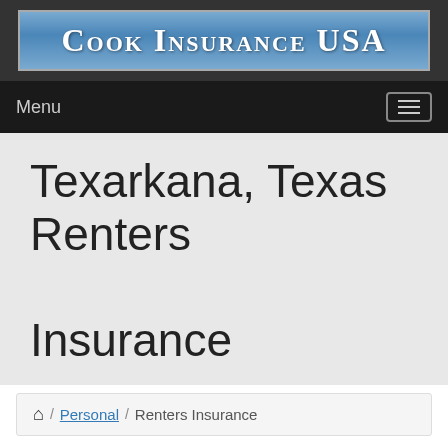[Figure (logo): Cook Insurance USA logo — blue gradient banner with white bold serif text]
Menu
Texarkana, Texas Renters Insurance
🏠 / Personal / Renters Insurance
Renters Insurance Quote Request
[Figure (photo): Partial photo of a house rooftop/exterior, visible at the bottom of the page]